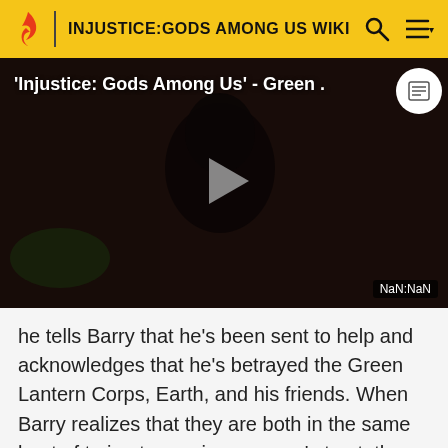INJUSTICE:GODS AMONG US WIKI
[Figure (screenshot): Video player showing a dark scene from Injustice: Gods Among Us featuring a character in a green costume. Title overlay reads 'Injustice: Gods Among Us' - Green . with a play button in the center and NaN:NaN timestamp in the bottom right.]
he tells Barry that he's been sent to help and acknowledges that he's betrayed the Green Lantern Corps, Earth, and his friends. When Barry realizes that they are both in the same boat of trying to regain everyone's trust, the two renew their friendship.